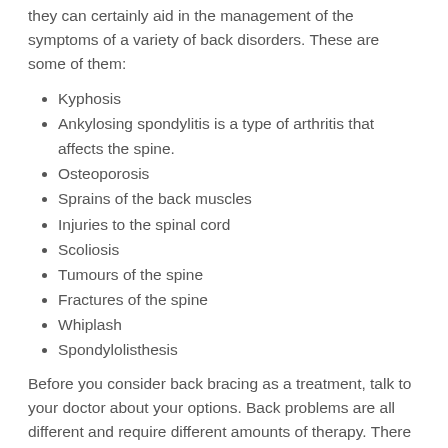they can certainly aid in the management of the symptoms of a variety of back disorders. These are some of them:
Kyphosis
Ankylosing spondylitis is a type of arthritis that affects the spine.
Osteoporosis
Sprains of the back muscles
Injuries to the spinal cord
Scoliosis
Tumours of the spine
Fractures of the spine
Whiplash
Spondylolisthesis
Before you consider back bracing as a treatment, talk to your doctor about your options. Back problems are all different and require different amounts of therapy. There are